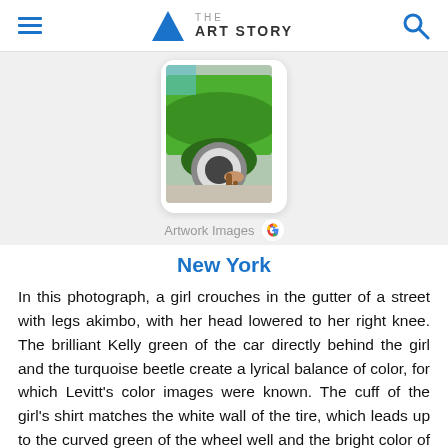THE ART STORY
[Figure (photo): Photo of a girl crouching in the gutter next to a bright green car with white wall tires, partially visible turquoise Beetle in background]
Artwork Images G
New York
In this photograph, a girl crouches in the gutter of a street with legs akimbo, with her head lowered to her right knee. The brilliant Kelly green of the car directly behind the girl and the turquoise beetle create a lyrical balance of color, for which Levitt's color images were known. The cuff of the girl's shirt matches the white wall of the tire, which leads up to the curved green of the wheel well and the bright color of the car, then to the blue of the Beetle and a